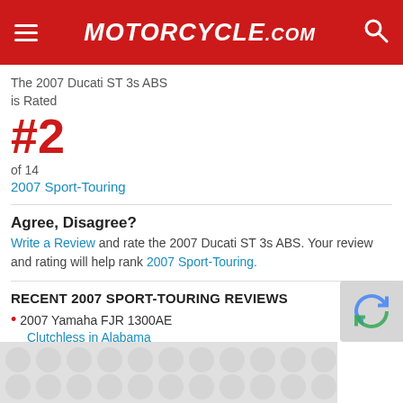Motorcycle.com
The 2007 Ducati ST 3s ABS is Rated
#2
of 14
2007 Sport-Touring
Agree, Disagree?
Write a Review and rate the 2007 Ducati ST 3s ABS. Your review and rating will help rank 2007 Sport-Touring.
RECENT 2007 SPORT-TOURING REVIEWS
2007 Yamaha FJR 1300AE
Clutchless in Alabama
2007 Honda ST1300
A keeper for me
2007 Honda ST1300